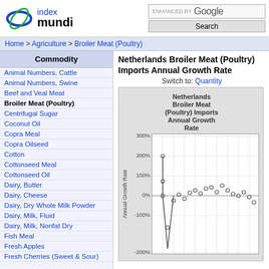[Figure (logo): Index Mundi logo with circular graphic and text]
ENHANCED BY Google  Search
Home > Agriculture > Broiler Meat (Poultry)
Commodity
Animal Numbers, Cattle
Animal Numbers, Swine
Beef and Veal Meat
Broiler Meat (Poultry)
Centrifugal Sugar
Coconut Oil
Copra Meal
Copra Oilseed
Cotton
Cottonseed Meal
Cottonseed Oil
Dairy, Butter
Dairy, Cheese
Dairy, Dry Whole Milk Powder
Dairy, Milk, Fluid
Dairy, Milk, Nonfat Dry
Fish Meal
Fresh Apples
Fresh Cherries (Sweet & Sour)
Netherlands Broiler Meat (Poultry) Imports Annual Growth Rate
Switch to: Quantity
[Figure (continuous-plot): Netherlands Broiler Meat (Poultry) Imports Annual Growth Rate scatter/line chart. Y-axis shows Annual Growth Rate from -200% to 300%. Data points scattered around 0% with one spike near 200% and one large negative spike around -200% at the bottom edge. Points connected by lines in some sections.]